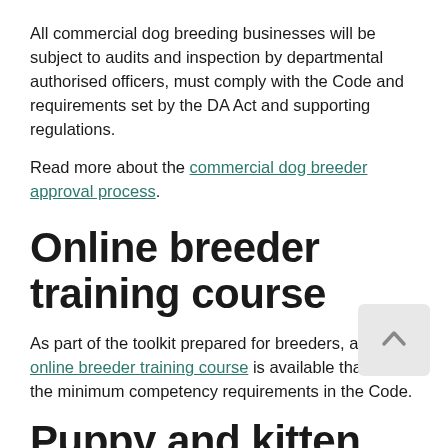All commercial dog breeding businesses will be subject to audits and inspection by departmental authorised officers, must comply with the Code and requirements set by the DA Act and supporting regulations.
Read more about the commercial dog breeder approval process.
Online breeder training course
As part of the toolkit prepared for breeders, a FREE online breeder training course is available that meets the minimum competency requirements in the Code.
Puppy and kitten brokers